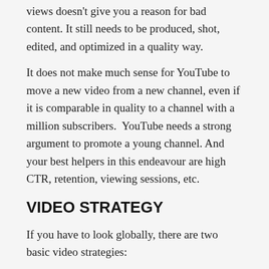views doesn't give you a reason for bad content. It still needs to be produced, shot, edited, and optimized in a quality way.
It does not make much sense for YouTube to move a new video from a new channel, even if it is comparable in quality to a channel with a million subscribers. YouTube needs a strong argument to promote a young channel. And your best helpers in this endeavour are high CTR, retention, viewing sessions, etc.
VIDEO STRATEGY
If you have to look globally, there are two basic video strategies:
The rarer one is when you want specific views. For example, you are selling luxurious